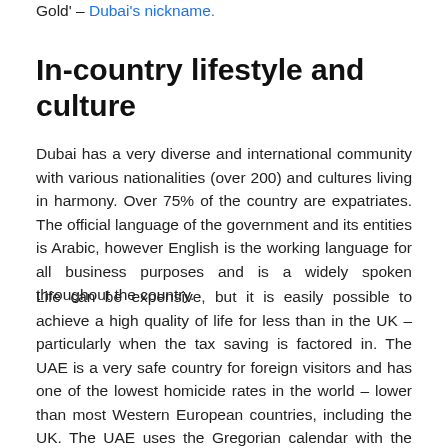Gold' – Dubai's nickname.
In-country lifestyle and culture
Dubai has a very diverse and international community with various nationalities (over 200) and cultures living in harmony. Over 75% of the country are expatriates. The official language of the government and its entities is Arabic, however English is the working language for all business purposes and is a widely spoken throughout the country.
Life can be expensive, but it is easily possible to achieve a high quality of life for less than in the UK – particularly when the tax saving is factored in. The UAE is a very safe country for foreign visitors and has one of the lowest homicide rates in the world – lower than most Western European countries, including the UK. The UAE uses the Gregorian calendar with the normal working week from Sunday to Thursday (Friday/Saturday - weekend). Beautiful beaches, coupled with ample offerings for a social life, are also valued by expatriate